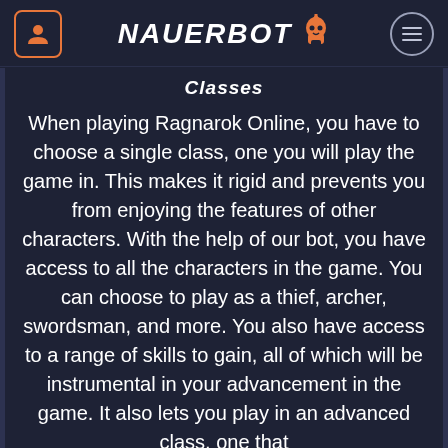NAVERBOT Classes
Classes
When playing Ragnarok Online, you have to choose a single class, one you will play the game in. This makes it rigid and prevents you from enjoying the features of other characters. With the help of our bot, you have access to all the characters in the game. You can choose to play as a thief, archer, swordsman, and more. You also have access to a range of skills to gain, all of which will be instrumental in your advancement in the game. It also lets you play in an advanced class, one that